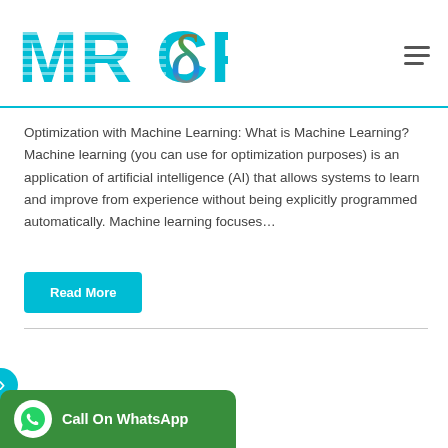MR CFδ
Optimization with Machine Learning: What is Machine Learning? Machine learning (you can use for optimization purposes) is an application of artificial intelligence (AI) that allows systems to learn and improve from experience without being explicitly programmed automatically. Machine learning focuses…
Read More
Call On WhatsApp